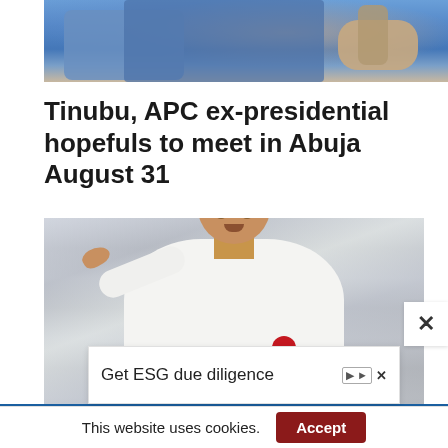[Figure (photo): Partial top photo of people in blue attire, cropped at top of page]
Tinubu, APC ex-presidential hopefuls to meet in Abuja August 31
[Figure (photo): Man in white outfit and red hat pointing with one hand, holding a red microphone, speaking at an event]
Get ESG due diligence
This website uses cookies.
Accept